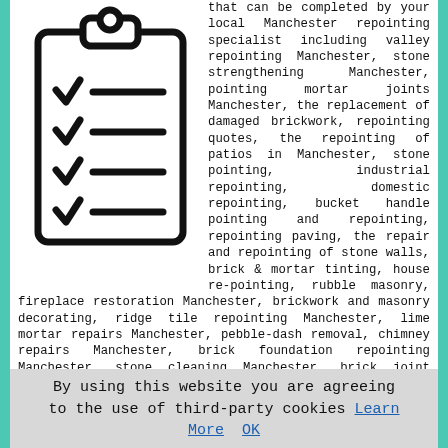[Figure (illustration): Clipboard with checklist icon — three checkmarks with lines next to them]
that can be completed by your local Manchester repointing specialist including valley repointing Manchester, stone strengthening Manchester, pointing mortar joints Manchester, the replacement of damaged brickwork, repointing quotes, the repointing of patios in Manchester, stone pointing, industrial repointing, domestic repointing, bucket handle pointing and repointing, repointing paving, the repair and repointing of stone walls, brick & mortar tinting, house re-pointing, rubble masonry, fireplace restoration Manchester, brickwork and masonry decorating, ridge tile repointing Manchester, lime mortar repairs Manchester, pebble-dash removal, chimney repairs Manchester, brick foundation repointing Manchester, stone cleaning Manchester, brick joint repairs Manchester, restorations to damaged brickwork Manchester, the lime pointing of brick joints Manchester, brickwork joint raking, roof verge repointing Manchester, patch repointing Manchester, brick repointing Manchester, the repointing and pointing of brickwork, repointing work on mortar joints.
By using this website you are agreeing to the use of third-party cookies Learn More OK